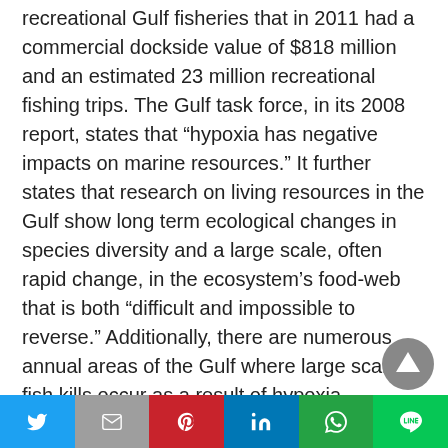recreational Gulf fisheries that in 2011 had a commercial dockside value of $818 million and an estimated 23 million recreational fishing trips. The Gulf task force, in its 2008 report, states that “hypoxia has negative impacts on marine resources.” It further states that research on living resources in the Gulf show long term ecological changes in species diversity and a large scale, often rapid change, in the ecosystem’s food-web that is both “difficult and impossible to reverse.” Additionally, there are numerous annual areas of the Gulf where large scale fish kills occur as a result of hypoxia. Two surveys conducted in June and early July, one